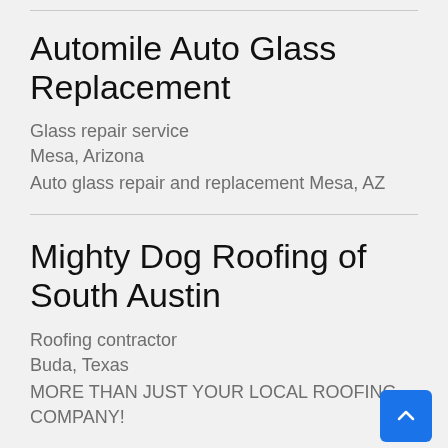Automile Auto Glass Replacement
Glass repair service
Mesa, Arizona
Auto glass repair and replacement Mesa, AZ
Mighty Dog Roofing of South Austin
Roofing contractor
Buda, Texas
MORE THAN JUST YOUR LOCAL ROOFING COMPANY!